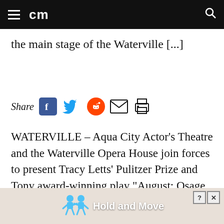cm
the main stage of the Waterville [...]
Share
WATERVILLE – Aqua City Actor's Theatre and the Waterville Opera House join forces to present Tracy Letts' Pulitzer Prize and Tony award-winning play “August: Osage County.” Performances are set for 7:30 p.m. May 30, 31 and June 6 and 7, and at 2 p.m. June 1 and 8 on the main stage of the Waterville Opera House
[Figure (infographic): Advertisement bar at bottom reading 'Hold and Move' with cartoon figures and close button]